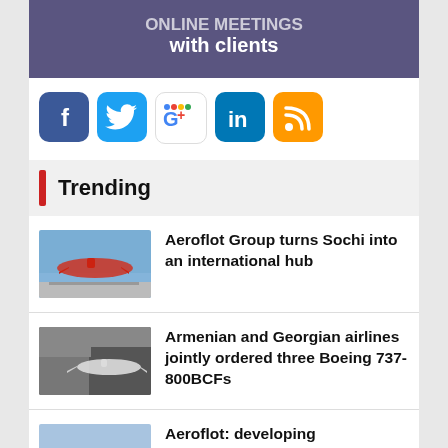[Figure (illustration): Purple/dark banner with text 'with clients' visible at bottom]
[Figure (infographic): Row of social media icons: Facebook, Twitter, Google+, LinkedIn, RSS]
Trending
[Figure (photo): Airplane on runway – Aeroflot Group article thumbnail]
Aeroflot Group turns Sochi into an international hub
[Figure (photo): Airplane – Armenian and Georgian airlines article thumbnail]
Armenian and Georgian airlines jointly ordered three Boeing 737-800BCFs
[Figure (photo): Airplane on ground – Aeroflot Krasnoyarsk article thumbnail]
Aeroflot: developing Krasnoyarsk regional hub still high priority
[Figure (photo): Building/hangar – Azimuth Airlines article thumbnail]
Azimuth Airlines to open maintenance hangar in Rostov in